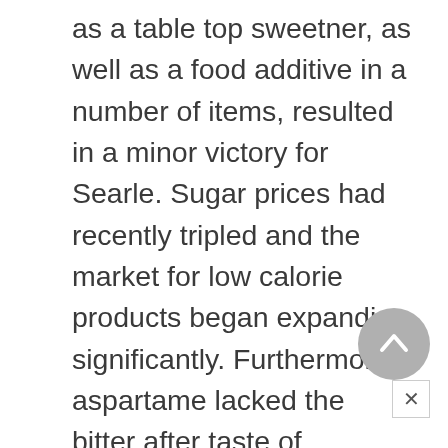as a table top sweetner, as well as a food additive in a number of items, resulted in a minor victory for Searle. Sugar prices had recently tripled and the market for low calorie products began expanding significantly. Furthermore, aspartame lacked the bitter after taste of saccharin with only about .5% of the calories of sugar. Yet several disadvantages in the new product caused industry analysts to remain cautious in their assessment of
aspartame's future. The projected cost